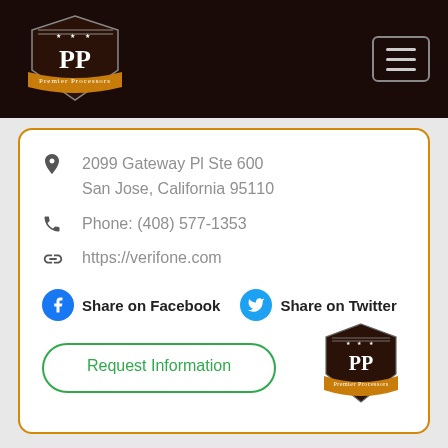[Figure (logo): Premier Processors shield logo with PP letters and orange banner on dark brown background]
2099 Gateway Pl Ste 600
San Jose, California 95110
Phone: (408) 577-1353
https://verifone.com
Share on Facebook  Share on Twitter
Request Information
[Figure (logo): Premier Processors shield logo small, bottom right]